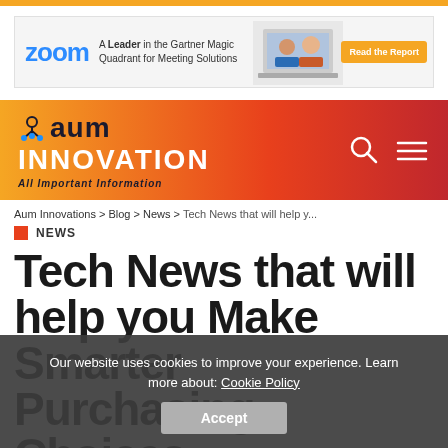[Figure (screenshot): Zoom advertisement banner: Zoom logo, text 'A Leader in the Gartner Magic Quadrant for Meeting Solutions', photo of people on video call, orange 'Read the Report' button]
[Figure (logo): Aum Innovation website header banner with gradient orange-to-red background, logo with 'AUM INNOVATION All Important Information', search and menu icons]
Aum Innovations > Blog > News > Tech News that will help y...
NEWS
Tech News that will help you Make Smarter Purchasing Choices
Shery Gopp  December 3, 2015
Our website uses cookies to improve your experience. Learn more about: Cookie Policy
Accept